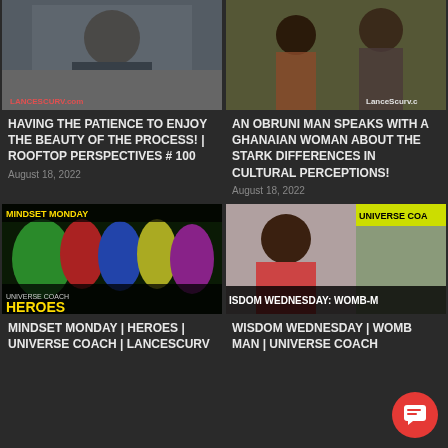[Figure (photo): Thumbnail of a man speaking, with LANCESCURV.com watermark in red]
HAVING THE PATIENCE TO ENJOY THE BEAUTY OF THE PROCESS! | ROOFTOP PERSPECTIVES # 100
August 18, 2022
[Figure (photo): Thumbnail of a man and woman in colorful clothing outdoors, with LanceScurv watermark]
AN OBRUNI MAN SPEAKS WITH A GHANAIAN WOMAN ABOUT THE STARK DIFFERENCES IN CULTURAL PERCEPTIONS!
August 18, 2022
[Figure (photo): Thumbnail with Marvel superheroes and text MINDSET MONDAY / UNIVERSE COACH HEROES]
MINDSET MONDAY | HEROES | UNIVERSE COACH | LANCESCURV
[Figure (photo): Thumbnail with woman and UNIVERSE COACH / WISDOM WEDNESDAY: WOMB-MAN overlay text]
WISDOM WEDNESDAY | WOMB MAN | UNIVERSE COACH